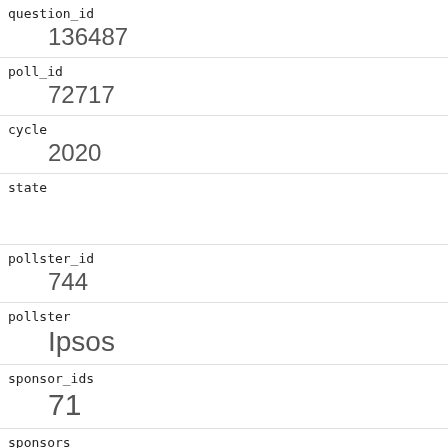| field | value |
| --- | --- |
| question_id | 136487 |
| poll_id | 72717 |
| cycle | 2020 |
| state |  |
| pollster_id | 744 |
| pollster | Ipsos |
| sponsor_ids | 71 |
| sponsors | Reuters |
| display_name | Ipsos |
| pollster_rating_id | 154 |
| pollster_rating_name |  |